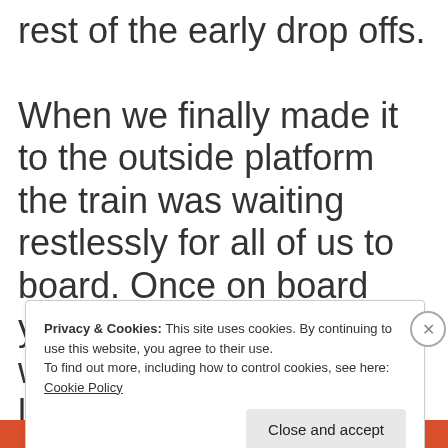rest of the early drop offs.

When we finally made it to the outside platform the train was waiting restlessly for all of us to board. Once on board you could feel power wanting to pull forward like a new puppy tugging at the end
Privacy & Cookies: This site uses cookies. By continuing to use this website, you agree to their use.
To find out more, including how to control cookies, see here: Cookie Policy
Close and accept